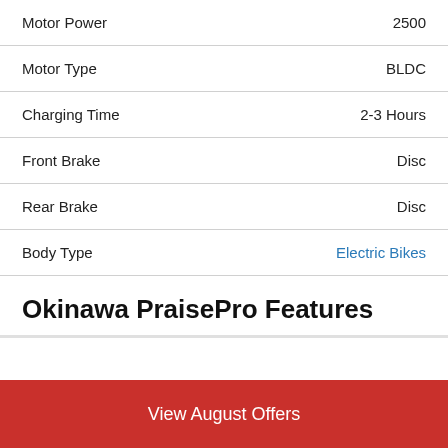Motor Power  2500
Motor Type  BLDC
Charging Time  2-3 Hours
Front Brake  Disc
Rear Brake  Disc
Body Type  Electric Bikes
Okinawa PraisePro Features
View August Offers